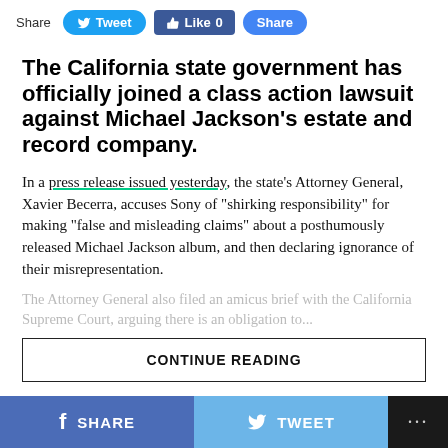Share  Tweet  Like 0  Share
The California state government has officially joined a class action lawsuit against Michael Jackson's estate and record company.
In a press release issued yesterday, the state's Attorney General, Xavier Becerra, accuses Sony of “shirking responsibility” for making “false and misleading claims” about a posthumously released Michael Jackson album, and then declaring ignorance of their misrepresentation.
The Attorney General also filed an amicus brief with the [faded/obscured text]
CONTINUE READING
f SHARE   Twitter TWEET   ...